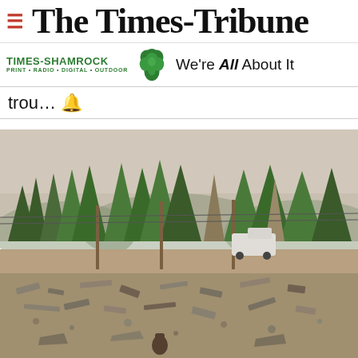The Times-Tribune
[Figure (logo): Times-Shamrock logo with shamrock icon and tagline 'We're All About It']
trou… 🔔
[Figure (photo): Wildfire disaster aftermath photo showing burned rubble and debris in foreground with tall pine trees, utility poles with power lines, smoky hazy sky, and a white truck in the background]